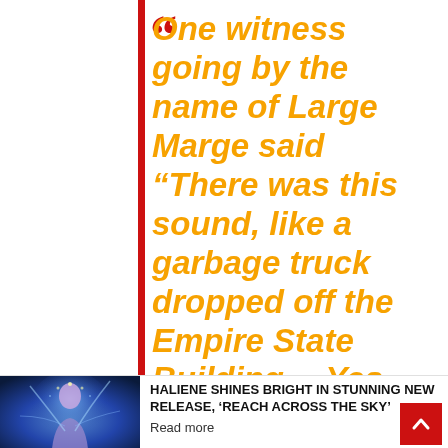“One witness going by the name of Large Marge said “There was this sound, like a garbage truck dropped off the Empire State Building… Yes, Sir,
[Figure (photo): Photo of a woman (Haliene) with blue/purple lighting and flowing hair, used as thumbnail for article]
HALIENE SHINES BRIGHT IN STUNNING NEW RELEASE, ‘REACH ACROSS THE SKY’
Read more